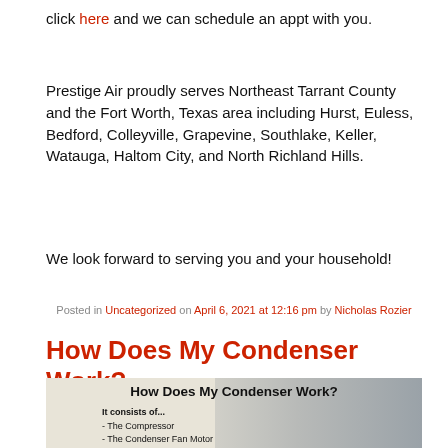click here and we can schedule an appt with you.
Prestige Air proudly serves Northeast Tarrant County and the Fort Worth, Texas area including Hurst, Euless, Bedford, Colleyville, Grapevine, Southlake, Keller, Watauga, Haltom City, and North Richland Hills.
We look forward to serving you and your household!
Posted in Uncategorized on April 6, 2021 at 12:16 pm by Nicholas Rozier
How Does My Condenser Work?
[Figure (photo): Infographic image showing an outdoor AC condenser unit with text overlay: 'How Does My Condenser Work?' and a list: 'It consists of... - The Compressor - The Condenser Fan Motor - The Condenser Coil - The Contactor - The Capacitor']